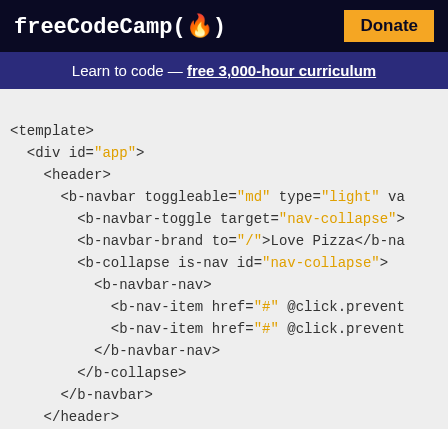freeCodeCamp(🔥)   Donate
Learn to code — free 3,000-hour curriculum
[Figure (screenshot): Code snippet showing Vue.js template HTML with b-navbar, b-navbar-toggle, b-navbar-brand, b-collapse, b-navbar-nav, b-nav-item elements and a main section with a div containing a comment about Love pizza button and clicks counter.]